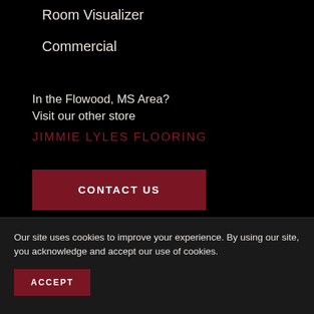Room Visualizer
Commercial
In the Flowood, MS Area?
Visit our other store
JIMMIE LYLES FLOORING
CONTACT US
FREE ESTIMATE
Our site uses cookies to improve your experience. By using our site, you acknowledge and accept our use of cookies.
ACCEPT